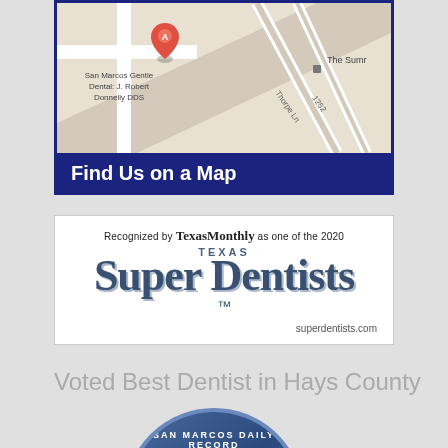[Figure (map): Google map showing location of San Marcos Gentle Dental: J. Robert Donnelly DDS with a red map pin marker at location A. Shows streets including Thorpe Ln and 1252. Partially shows 'The Summ' label to the right.]
Find Us on a Map
[Figure (logo): Texas Super Dentists badge. Text reads: Recognized by TexasMonthly as one of the 2020 TEXAS Super Dentists superdentists.com]
Voted Best Dentist in Hays County
[Figure (logo): San Marcos Daily Record circular badge/seal showing BEST at bottom, partially cropped]